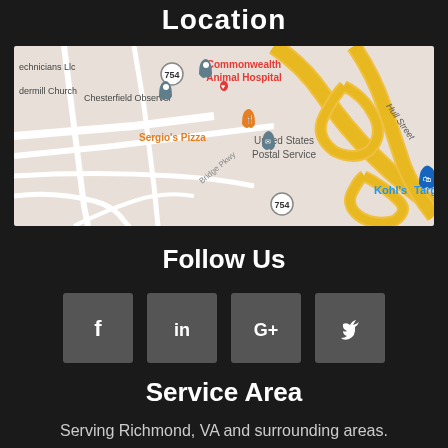Location
[Figure (map): Google Maps screenshot showing area around Hull Street, Richmond VA area with landmarks including Commonwealth Animal Hospital, Chesterfield Observer, Sergio's Pizza, United States Postal Service, Target, and Kohl's. Shows route 754 and Hull Street road.]
Follow Us
[Figure (infographic): Four social media icon buttons: Facebook (f), LinkedIn (in), Google+ (G+), Twitter (bird icon), displayed as dark gray square buttons with white icons]
Service Area
Serving Richmond, VA and surrounding areas.